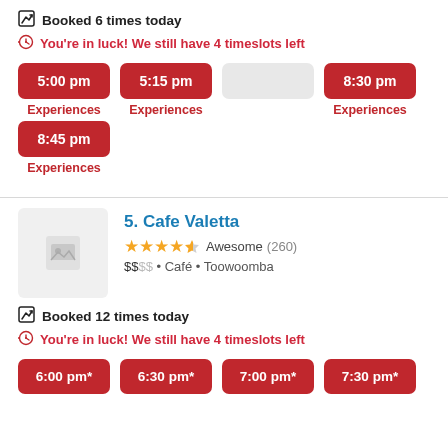Booked 6 times today
You're in luck! We still have 4 timeslots left
5:00 pm | 5:15 pm | (disabled) | 8:30 pm | 8:45 pm
5. Cafe Valetta
Awesome (260) $$•Café•Toowoomba
Booked 12 times today
You're in luck! We still have 4 timeslots left
6:00 pm* | 6:30 pm* | 7:00 pm* | 7:30 pm*